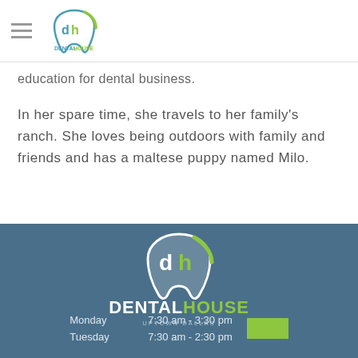[Figure (logo): Dental House Uptown Dallas logo in header — tooth shape with 'dh' letters, green and teal colors]
education for dental business.
In her spare time, she travels to her family's ranch. She loves being outdoors with family and friends and has a maltese puppy named Milo.
[Figure (logo): Dental House Uptown Dallas large footer logo — white and green tooth shape with 'dh', white bold text DENTAL and green HOUSE, subtitle UPTOWN DALLAS]
| Day | Hours |
| --- | --- |
| Monday | 7:30 am - 3:30 pm |
| Tuesday | 7:30 am - 2:30 pm |